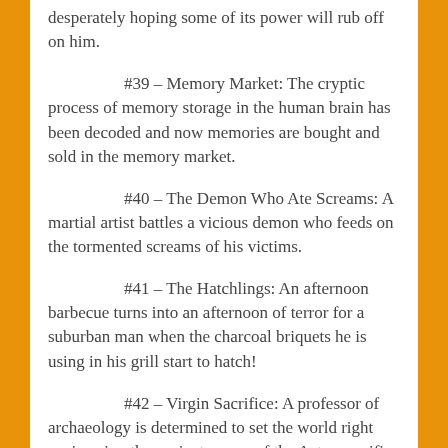desperately hoping some of its power will rub off on him.
#39 – Memory Market: The cryptic process of memory storage in the human brain has been decoded and now memories are bought and sold in the memory market.
#40 – The Demon Who Ate Screams: A martial artist battles a vicious demon who feeds on the tormented screams of his victims.
#41 – The Hatchlings: An afternoon barbecue turns into an afternoon of terror for a suburban man when the charcoal briquets he is using in his grill start to hatch!
#42 – Virgin Sacrifice: A professor of archaeology is determined to set the world right again using the ancient power of the Aztec sacrifice rituals.
#43 – Smog Monsters: The heavily contaminated air in